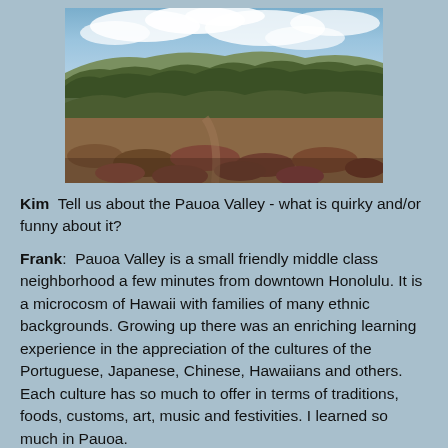[Figure (photo): Panoramic landscape photo of Pauoa Valley showing rocky terrain in the foreground, dense green tree canopy in the middle ground, hills and scattered buildings in the background, and a blue sky with white clouds above.]
Kim  Tell us about the Pauoa Valley - what is quirky and/or funny about it?
Frank:  Pauoa Valley is a small friendly middle class neighborhood a few minutes from downtown Honolulu. It is a microcosm of Hawaii with families of many ethnic backgrounds. Growing up there was an enriching learning experience in the appreciation of the cultures of the Portuguese, Japanese, Chinese, Hawaiians and others. Each culture has so much to offer in terms of traditions, foods, customs, art, music and festivities. I learned so much in Pauoa.